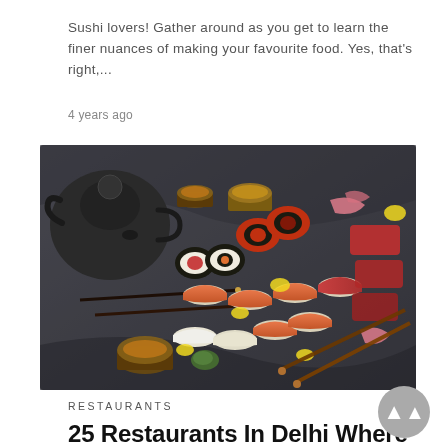Sushi lovers! Gather around as you get to learn the finer nuances of making your favourite food. Yes, that's right,...
4 years ago
[Figure (photo): Overhead view of an assortment of sushi pieces, maki rolls, nigiri, and sashimi arranged on a dark slate board, with chopsticks, small sauce bowls, a black cast iron teapot, ginger, and lemon slices.]
RESTAURANTS
25 Restaurants In Delhi Where You Can Binge On Sushi This International Sushi Day